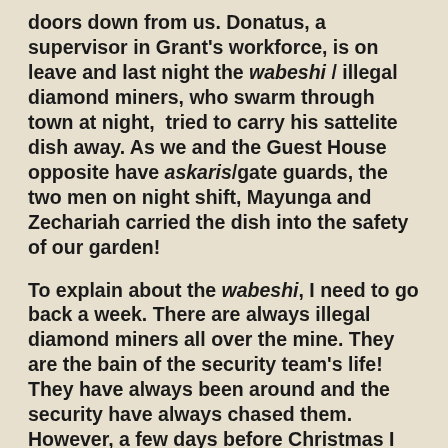doors down from us. Donatus, a supervisor in Grant's workforce, is on leave and last night the wabeshi / illegal diamond miners, who swarm through town at night,  tried to carry his sattelite dish away. As we and the Guest House opposite have askaris/gate guards, the two men on night shift, Mayunga and Zechariah carried the dish into the safety of our garden!
To explain about the wabeshi, I need to go back a week. There are always illegal diamond miners all over the mine. They are the bain of the security team's life! They have always been around and the security have always chased them. However, a few days before Christmas I was sitting at my desk when I heard an explosion. (This is nothing new as we always hear when there is blasting on the mine which is only two streets away to the west.)